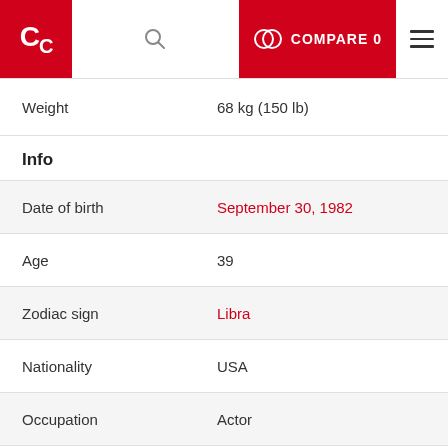CC COMPARE 0
| Field | Value |
| --- | --- |
| Weight | 68 kg (150 lb) |
| Info |  |
| Date of birth | September 30, 1982 |
| Age | 39 |
| Zodiac sign | Libra |
| Nationality | USA |
| Occupation | Actor |
| Sexual Orientation | Straight |
| Eyes color | Brown |